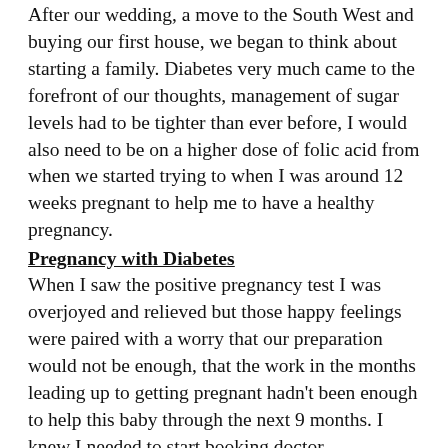After our wedding, a move to the South West and buying our first house, we began to think about starting a family. Diabetes very much came to the forefront of our thoughts, management of sugar levels had to be tighter than ever before, I would also need to be on a higher dose of folic acid from when we started trying to when I was around 12 weeks pregnant to help me to have a healthy pregnancy.
Pregnancy with Diabetes
When I saw the positive pregnancy test I was overjoyed and relieved but those happy feelings were paired with a worry that our preparation would not be enough, that the work in the months leading up to getting pregnant hadn't been enough to help this baby through the next 9 months. I knew I needed to start booking doctor